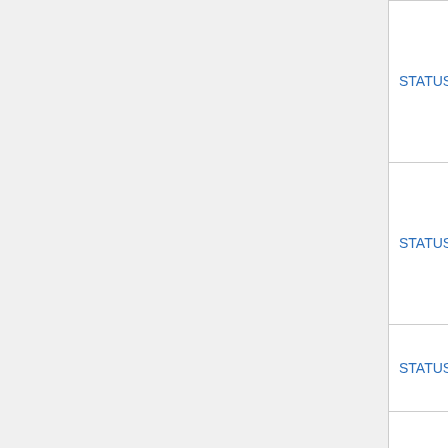| Name | Value | Description |
| --- | --- | --- |
| STATUS_ROTATE_Y | 0x004 | Can turn along this axis (physical objects only) |
| STATUS_ROTATE_Z | 0x008 | Can turn along this axis (physical objects only) |
| STATUS_PHANTOM | 0x010 | Object is phantom |
| STATUS_SANDBOX | 0x020 | Keep object within 10 meters and in the same region |
|  |  | Prevent click-and- |